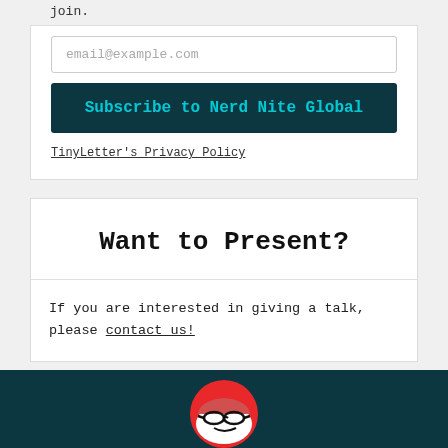join.
email@example.com
Subscribe to Nerd Nite Global
TinyLetter's Privacy Policy
Want to Present?
If you are interested in giving a talk, please contact us!
[Figure (logo): Nerd Nite logo: red circle with a white face wearing glasses, looking sideways]